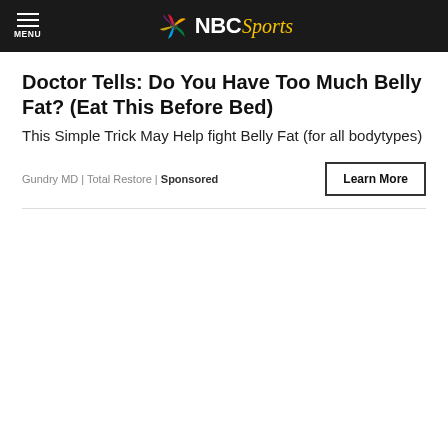NBC Sports
Doctor Tells: Do You Have Too Much Belly Fat? (Eat This Before Bed)
This Simple Trick May Help fight Belly Fat (for all bodytypes)
Gundry MD | Total Restore | Sponsored
Learn More